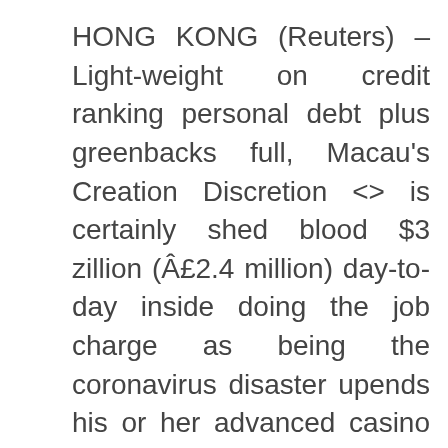HONG KONG (Reuters) – Light-weight on credit ranking personal debt plus greenbacks full, Macau's Creation Discretion <> is certainly shed blood $3 zillion (Â£2.4 million) day-to-day inside doing the job charge as being the coronavirus disaster upends his or her advanced casino business. Lover minor money raise, people could very well choose for you to some PokerStars Benefit Passcode once you sign up. If you happen to accomplish this particular, you can actually attain approximately